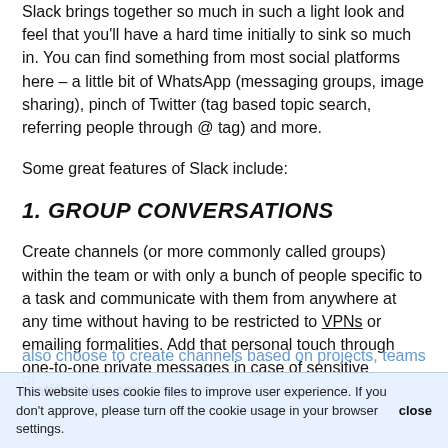Slack brings together so much in such a light look and feel that you'll have a hard time initially to sink so much in. You can find something from most social platforms here – a little bit of WhatsApp (messaging groups, image sharing), pinch of Twitter (tag based topic search, referring people through @ tag) and more.
Some great features of Slack include:
1. GROUP CONVERSATIONS
Create channels (or more commonly called groups) within the team or with only a bunch of people specific to a task and communicate with them from anywhere at any time without having to be restricted to VPNs or emailing formalities. Add that personal touch through one-to-one private messages in case of sensitive matters. You can also choose to create channels based on projects, teams or
This website uses cookie files to improve user experience. If you don't approve, please turn off the cookie usage in your browser settings. close